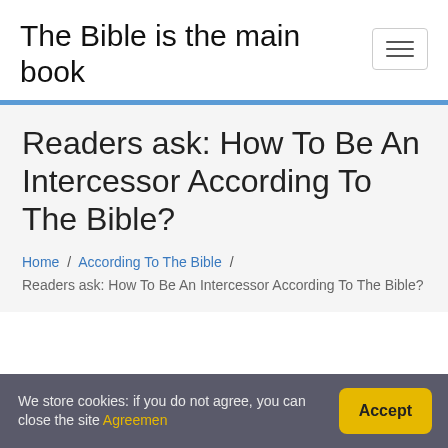The Bible is the main book
[Figure (other): Hamburger menu icon button]
Readers ask: How To Be An Intercessor According To The Bible?
Home / According To The Bible / Readers ask: How To Be An Intercessor According To The Bible?
We store cookies: if you do not agree, you can close the site Agreemen